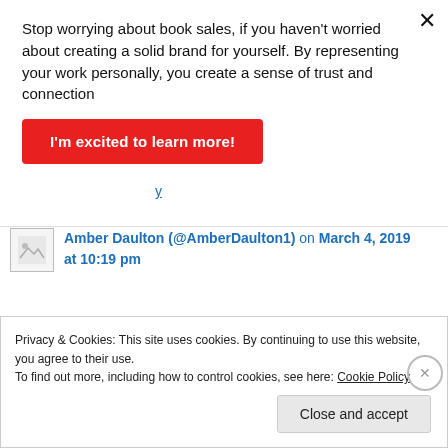Stop worrying about book sales, if you haven't worried about creating a solid brand for yourself. By representing your work personally, you create a sense of trust and connection
I'm excited to learn more!
Amber Daulton (@AmberDaulton1) on March 4, 2019 at 10:19 pm
Privacy & Cookies: This site uses cookies. By continuing to use this website, you agree to their use.
To find out more, including how to control cookies, see here: Cookie Policy
Close and accept